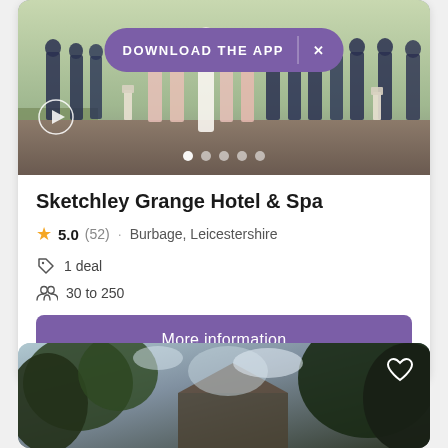[Figure (screenshot): Wedding party photo at Sketchley Grange Hotel & Spa with a purple 'DOWNLOAD THE APP' banner overlay, play button icon, and image carousel dots at bottom.]
Sketchley Grange Hotel & Spa
5.0 (52) · Burbage, Leicestershire
1 deal
30 to 250
More information
[Figure (photo): Outdoor photo of a building partially visible through trees and foliage with cloudy sky.]